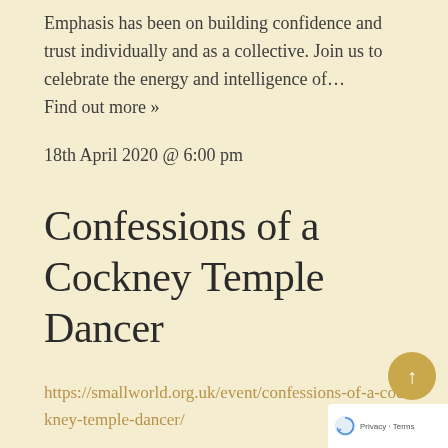Emphasis has been on building confidence and trust individually and as a collective. Join us to celebrate the energy and intelligence of…
Find out more »
18th April 2020 @ 6:00 pm
Confessions of a Cockney Temple Dancer
https://smallworld.org.uk/event/confessions-of-a-cockney-temple-dancer/
“Brilliant, hilarious, heartwarming and inspirational” ????? British Theatre Guide